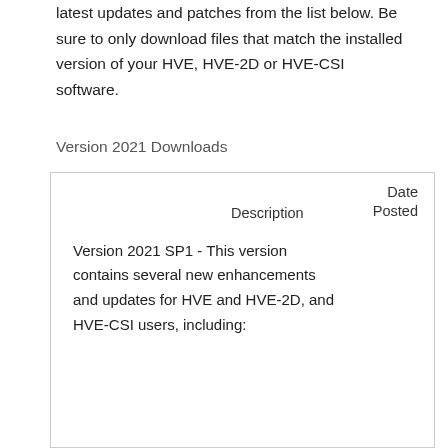latest updates and patches from the list below. Be sure to only download files that match the installed version of your HVE, HVE-2D or HVE-CSI software.
Version 2021 Downloads
| Description | Date
Posted |
| --- | --- |
| Version 2021 SP1 - This version contains several new enhancements and updates for HVE and HVE-2D, and HVE-CSI users, including: |  |